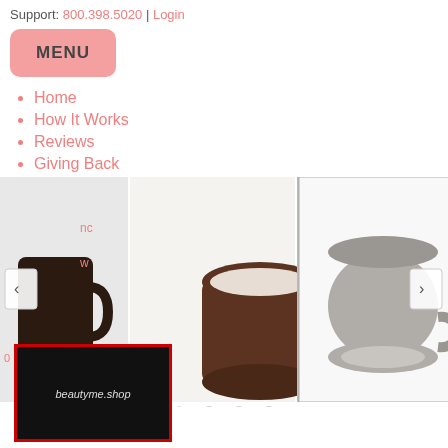Support: 800.398.5020 | Login
MENU
Home
How It Works
Reviews
Giving Back
[Figure (photo): A carousel of product photos showing various mugs and tea-related items. Five images visible: partial dark mug on left edge, brown ceramic mug, overturned grey ceramic mug (highlighted/selected), tea leaves with grey mug on wooden surface, partial bag on right edge. Navigation arrows on left and right. Four dot indicators below.]
[Figure (logo): beautyme.shop logo — white italic text on black background with red border]